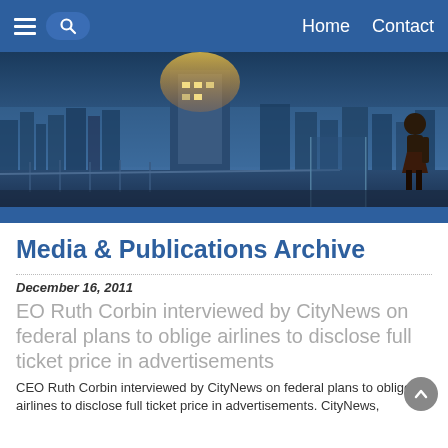Home  Contact
[Figure (photo): Hero banner image showing a city skyline view from a high-rise balcony with a silhouette of a person, blue-toned cityscape in the background.]
Media & Publications Archive
December 16, 2011
EO Ruth Corbin interviewed by CityNews on federal plans to oblige airlines to disclose full ticket price in advertisements
CEO Ruth Corbin interviewed by CityNews on federal plans to oblige airlines to disclose full ticket price in advertisements. CityNews,